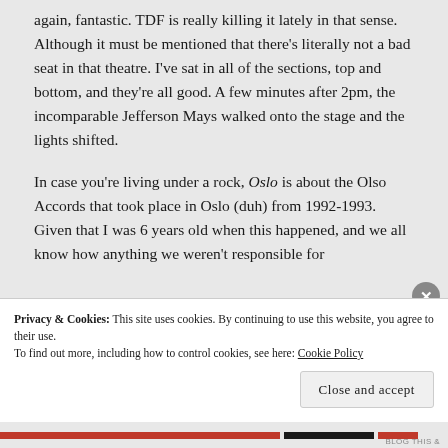again, fantastic. TDF is really killing it lately in that sense. Although it must be mentioned that there's literally not a bad seat in that theatre. I've sat in all of the sections, top and bottom, and they're all good. A few minutes after 2pm, the incomparable Jefferson Mays walked onto the stage and the lights shifted.
In case you're living under a rock, Oslo is about the Olso Accords that took place in Oslo (duh) from 1992-1993. Given that I was 6 years old when this happened, and we all know how anything we weren't responsible for living their lives somewhere in the US...
Privacy & Cookies: This site uses cookies. By continuing to use this website, you agree to their use. To find out more, including how to control cookies, see here: Cookie Policy
Close and accept